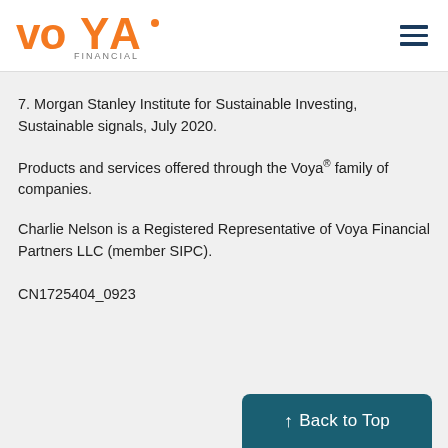[Figure (logo): Voya Financial logo — orange VOYA wordmark with 'FINANCIAL' in gray below, followed by navigation hamburger menu icon on right]
7. Morgan Stanley Institute for Sustainable Investing, Sustainable signals, July 2020.
Products and services offered through the Voya® family of companies.
Charlie Nelson is a Registered Representative of Voya Financial Partners LLC (member SIPC).
CN1725404_0923
↑ Back to Top